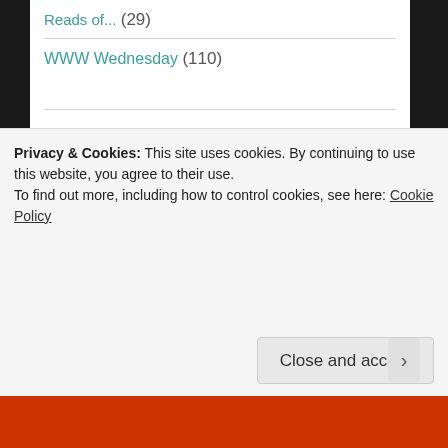Reads of... (29)
WWW Wednesday (110)
Blogs I follow
Bionic Book Worm
Book Princess Reviews
Camillea Reads
Diary of a Bookfiend
Privacy & Cookies: This site uses cookies. By continuing to use this website, you agree to their use.
To find out more, including how to control cookies, see here: Cookie Policy
Close and accept